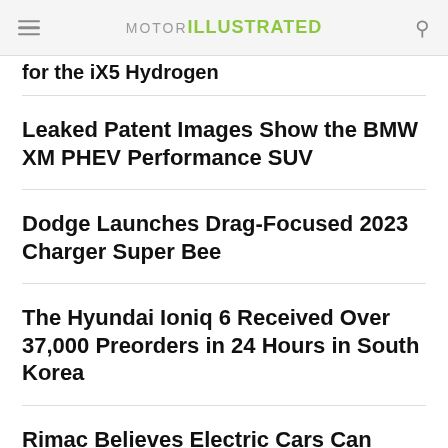MOTOR ILLUSTRATED
for the iX5 Hydrogen
Leaked Patent Images Show the BMW XM PHEV Performance SUV
Dodge Launches Drag-Focused 2023 Charger Super Bee
The Hyundai Ioniq 6 Received Over 37,000 Preorders in 24 Hours in South Korea
Rimac Believes Electric Cars Can